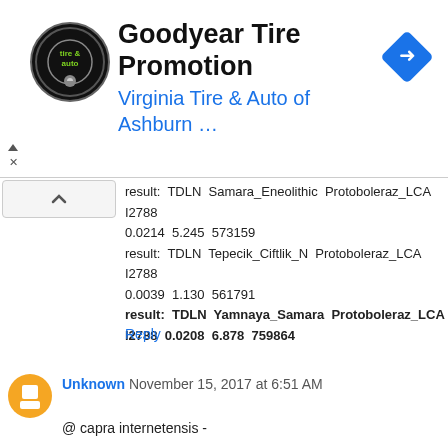[Figure (other): Goodyear Tire Promotion advertisement banner with Virginia Tire & Auto of Ashburn logo and blue navigation arrow icon]
result:  TDLN  Samara_Eneolithic  Protoboleraz_LCA  I2788  0.0214  5.245  573159
result:  TDLN  Tepecik_Ciftlik_N  Protoboleraz_LCA  I2788  0.0039  1.130  561791
result:  TDLN  Yamnaya_Samara  Protoboleraz_LCA  I2788  0.0208  6.878  759864
Reply
Unknown  November 15, 2017 at 6:51 AM
@ capra internetensis -

"The Chadian L761 is L761(xP297), apparently not tested for V88 (!?). Anyway 3 of them are fully sequenced and all those are V88.

Lot of people on Wikipedia don't understand the concept of